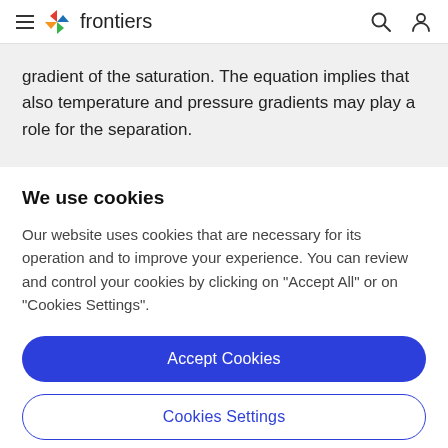frontiers
gradient of the saturation. The equation implies that also temperature and pressure gradients may play a role for the separation.
We use cookies
Our website uses cookies that are necessary for its operation and to improve your experience. You can review and control your cookies by clicking on "Accept All" or on "Cookies Settings".
Accept Cookies
Cookies Settings